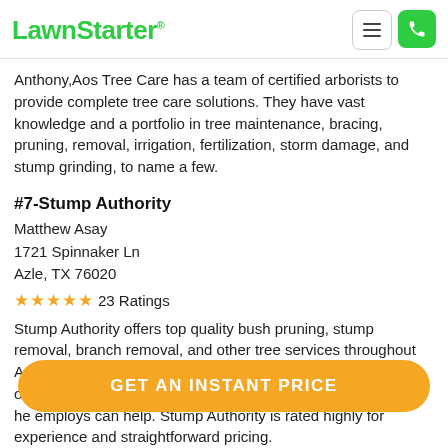LawnStarter
Anthony,Aos Tree Care has a team of certified arborists to provide complete tree care solutions. They have vast knowledge and a portfolio in tree maintenance, bracing, pruning, removal, irrigation, fertilization, storm damage, and stump grinding, to name a few.
#7-Stump Authority
Matthew Asay
1721 Spinnaker Ln
Azle, TX 76020
★★★★★ 23 Ratings
Stump Authority offers top quality bush pruning, stump removal, branch removal, and other tree services throughout Azle. Whether you need your trees maintained, trees topped, or a tree transplanted, owner Matthew Asay and the 2 experts he employs can help. Stump Authority is rated highly for experience and straightforward pricing.
#8-Geras Tree Trimming
G...
Az...,
★★★★★ 23 Ratings
GET AN INSTANT PRICE